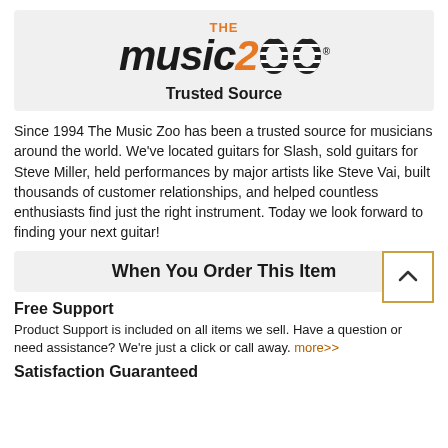[Figure (logo): The Music Zoo logo with orange and black text and zebra-striped 'oo' letters]
Trusted Source
Since 1994 The Music Zoo has been a trusted source for musicians around the world. We've located guitars for Slash, sold guitars for Steve Miller, held performances by major artists like Steve Vai, built thousands of customer relationships, and helped countless enthusiasts find just the right instrument. Today we look forward to finding your next guitar!
When You Order This Item
Free Support
Product Support is included on all items we sell. Have a question or need assistance? We're just a click or call away. more>>
Satisfaction Guaranteed